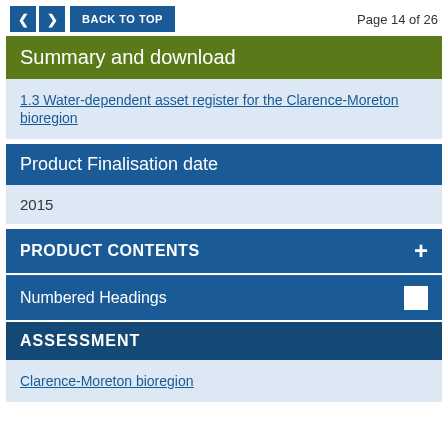< > BACK TO TOP  Page 14 of 26
Summary and download
1.3 Water-dependent asset register for the Clarence-Moreton bioregion
Product Finalisation date
2015
PRODUCT CONTENTS
Numbered Headings
ASSESSMENT
Clarence-Moreton bioregion